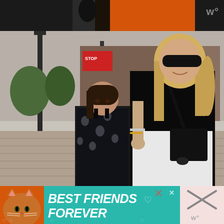[Figure (photo): Top partial strip showing a person in dark clothing against an orange background, partially cropped]
[Figure (photo): A blonde woman wearing sunglasses, black top and white pants with a black crossbody bag holding hands with a young girl in a black floral dress, walking on a brick paved outdoor shopping area with street lamps and other people in the background]
[Figure (infographic): Advertisement banner with teal/turquoise background featuring a cat illustration on left, 'BEST FRIENDS FOREVER' text in large white bold italic font, heart icons, and an X close button. Adjacent pink close button area with W logo.]